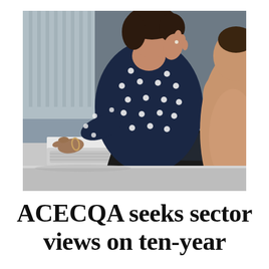[Figure (photo): Two women at a desk with a laptop and keyboard. One woman in a navy blue polka-dot shirt is gesturing with her hand near her face while the other woman in a sleeveless top is visible from behind in the foreground.]
ACECQA seeks sector views on ten-year